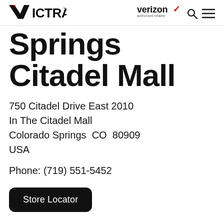VICTRA | verizon authorized retailer
Springs Citadel Mall
750 Citadel Drive East 2010
In The Citadel Mall
Colorado Springs  CO  80909
USA
Phone: (719) 551-5452
Store Locator